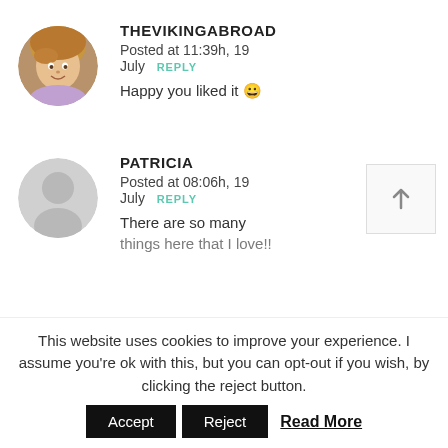[Figure (photo): Round avatar photo of a young woman with blonde hair, smiling, outdoors]
THEVIKINGABROAD
Posted at 11:39h, 19 July REPLY
Happy you liked it 😀
[Figure (illustration): Generic grey circular avatar placeholder with person silhouette]
PATRICIA
Posted at 08:06h, 19 July REPLY
There are so many things here that I love!!
This website uses cookies to improve your experience. I assume you're ok with this, but you can opt-out if you wish, by clicking the reject button.